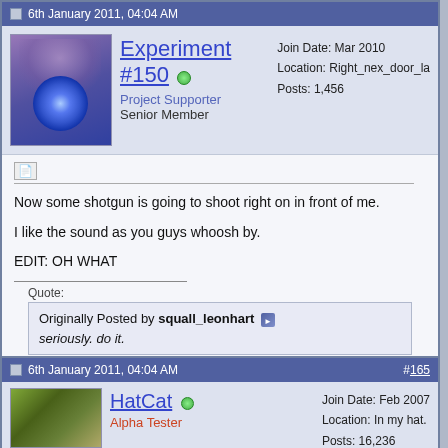6th January 2011, 04:04 AM
Experiment #150 — Project Supporter, Senior Member. Join Date: Mar 2010. Location: Right_nex_door_la. Posts: 1,456
Now some shotgun is going to shoot right on in front of me.

I like the sound as you guys whoosh by.

EDIT: OH WHAT
Quote: Originally Posted by squall_leonhart — seriously. do it.
6th January 2011, 04:04 AM   #165
HatCat — Alpha Tester. Join Date: Feb 2007. Location: In my hat. Posts: 16,236